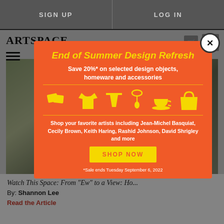SIGN UP   LOG IN
ARTSPACE
[Figure (screenshot): Artspace website with modal popup advertisement overlay on article image]
End of Summer Design Refresh
Save 20%* on selected design objects, homeware and accessories
[Figure (illustration): Row of yellow product icons: cushions, t-shirt, shorts, necklace, tea cup, tote bag]
Shop your favorite artists including Jean-Michel Basquiat, Cecily Brown, Keith Haring, Rashid Johnson, David Shrigley and more
SHOP NOW
*Sale ends Tuesday September 6, 2022
Watch This Space: From "Ew" to a View: Ho...
By: Shannon Lee
Read the Article